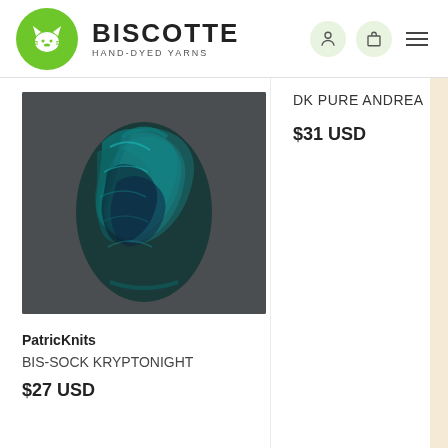[Figure (logo): Biscotte Hand-Dyed Yarns logo: green circle with white cat silhouette, brand name BISCOTTE, tagline HAND-DYED YARNS]
[Figure (photo): Skein of hand-dyed yarn in deep teal and navy blue colorway (Kryptonight), twisted and photographed on a gray surface]
PatricKnits
BIS-SOCK KRYPTONIGHT
$27 USD
DK PURE ANDREA
$31 USD